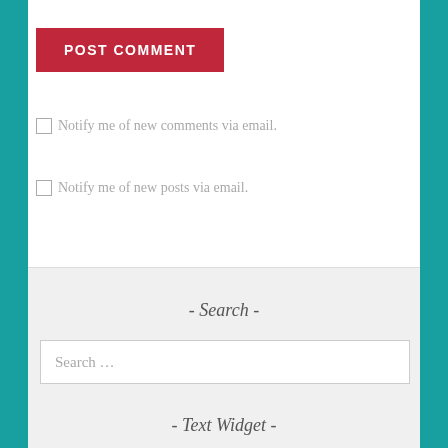POST COMMENT
Notify me of new comments via email.
Notify me of new posts via email.
- Search -
Search …
- Text Widget -